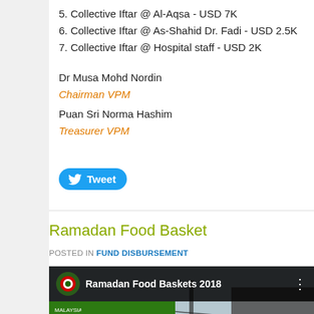5. Collective Iftar @ Al-Aqsa - USD 7K
6. Collective Iftar @ As-Shahid Dr. Fadi - USD 2.5K
7. Collective Iftar @ Hospital staff - USD 2K
Dr Musa Mohd Nordin
Chairman VPM
Puan Sri Norma Hashim
Treasurer VPM
[Figure (other): Twitter Tweet button]
Ramadan Food Basket
POSTED IN FUND DISBURSEMENT
[Figure (screenshot): YouTube video thumbnail showing 'Ramadan Food Baskets 2018' with a forklift scene]